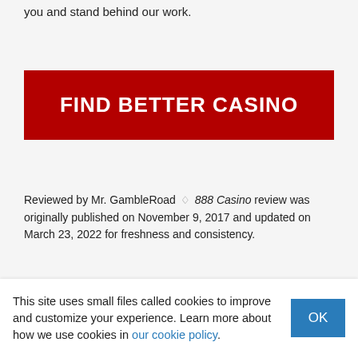you and stand behind our work.
FIND BETTER CASINO
Reviewed by Mr. GambleRoad ♦ 888 Casino review was originally published on November 9, 2017 and updated on March 23, 2022 for freshness and consistency.
How would you rate this
This site uses small files called cookies to improve and customize your experience. Learn more about how we use cookies in our cookie policy.